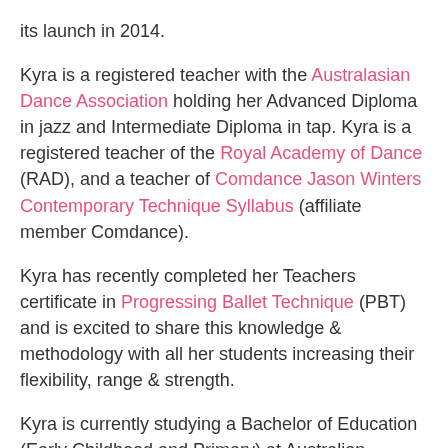its launch in 2014.
Kyra is a registered teacher with the Australasian Dance Association holding her Advanced Diploma in jazz and Intermediate Diploma in tap. Kyra is a registered teacher of the Royal Academy of Dance (RAD), and a teacher of Comdance Jason Winters Contemporary Technique Syllabus (affiliate member Comdance).
Kyra has recently completed her Teachers certificate in Progressing Ballet Technique (PBT) and is excited to share this knowledge & methodology with all her students increasing their flexibility, range & strength.
Kyra is currently studying a Bachelor of Education (Early Childhood and Primary) at Australian Catholic University (ACU).
As well as teaching other genres Kyra is our lead teacher of our Little Superstars Program & an accredited teacher of